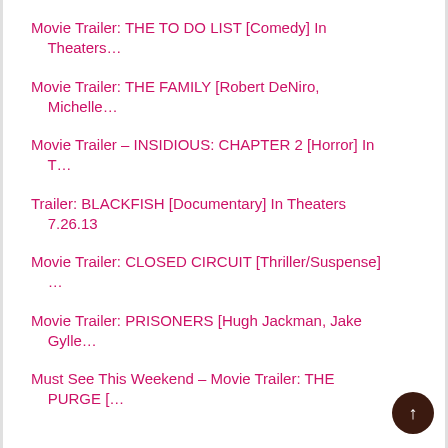Movie Trailer: THE TO DO LIST [Comedy] In Theaters…
Movie Trailer: THE FAMILY [Robert DeNiro, Michelle…
Movie Trailer - INSIDIOUS: CHAPTER 2 [Horror] In T…
Trailer: BLACKFISH [Documentary] In Theaters 7.26.13
Movie Trailer: CLOSED CIRCUIT [Thriller/Suspense] …
Movie Trailer: PRISONERS [Hugh Jackman, Jake Gylle…
Must See This Weekend - Movie Trailer: THE PURGE […